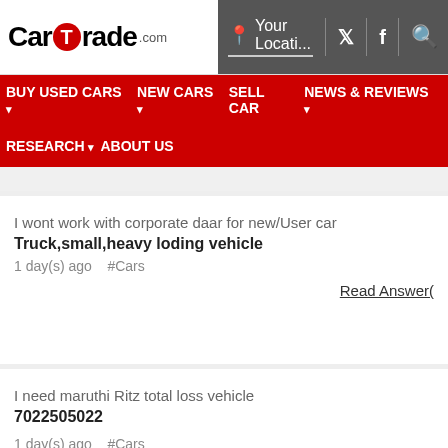[Figure (logo): CarTrade.com logo with red circular T icon]
Your Locati...  [Twitter] [Facebook] [Search]
BUY USED CARS  NEW CARS  SELL CAR  NEWS & REVIEWS  RESEARCH  ABOUT US
I wont work with corporate daar for new/User car
Truck,small,heavy loding vehicle
1 day(s) ago   #Cars
Read Answer(
I need maruthi Ritz total loss vehicle
7022505022

1 day(s) ago   #Cars
Read Answer(